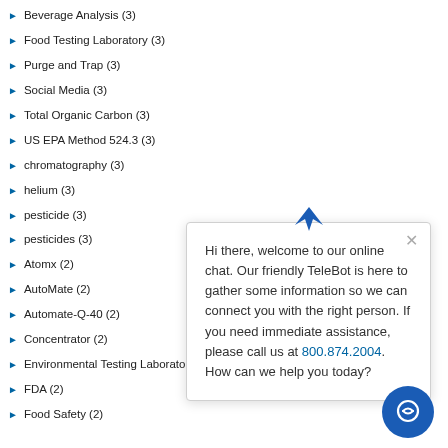Beverage Analysis (3)
Food Testing Laboratory (3)
Purge and Trap (3)
Social Media (3)
Total Organic Carbon (3)
US EPA Method 524.3 (3)
chromatography (3)
helium (3)
pesticide (3)
pesticides (3)
Atomx (2)
AutoMate (2)
Automate-Q-40 (2)
Concentrator (2)
Environmental Testing Laboratory (2)
FDA (2)
Food Safety (2)
Hi there, welcome to our online chat. Our friendly TeleBot is here to gather some information so we can connect you with the right person. If you need immediate assistance, please call us at 800.874.2004. How can we help you today?